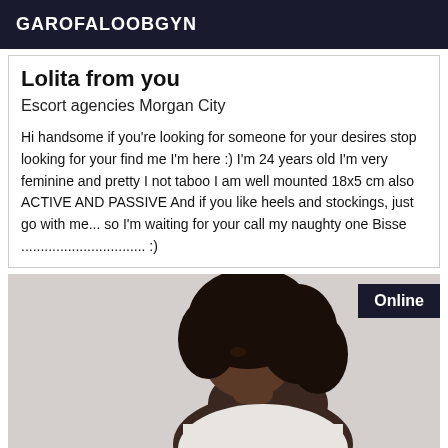GAROFALOOBGYN
Lolita from you
Escort agencies Morgan City
Hi handsome if you're looking for someone for your desires stop looking for your find me I'm here :) I'm 24 years old I'm very feminine and pretty I not taboo I am well mounted 18x5 cm also ACTIVE AND PASSIVE And if you like heels and stockings, just go with me... so I'm waiting for your call my naughty one Bisse ................................ :)
[Figure (photo): Photo of a person with dark curly hair, viewed from the side/back, wearing a light-colored top, with an 'Online' badge in the top-right corner.]